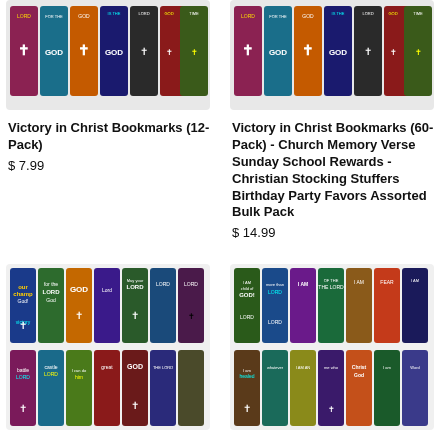[Figure (photo): Victory in Christ Bookmarks 12-Pack product image showing colorful Christian bookmark cards]
Victory in Christ Bookmarks (12-Pack)
$ 7.99
[Figure (photo): Victory in Christ Bookmarks 60-Pack product image showing colorful Christian bookmark cards]
Victory in Christ Bookmarks (60-Pack) - Church Memory Verse Sunday School Rewards - Christian Stocking Stuffers Birthday Party Favors Assorted Bulk Pack
$ 14.99
[Figure (photo): Bottom left product showing two rows of colorful Christian bookmarks with crosses and scripture]
[Figure (photo): Bottom right product showing two rows of colorful Christian bookmarks with scripture phrases]